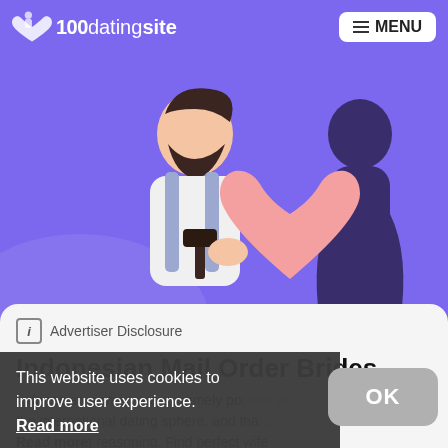100datingsite | MENU
[Figure (illustration): Purple background illustration showing a bearded man holding a large pink heart, with a dark silhouette of a woman on the right.]
i  Advertiser Disclosure
Indonesian Mail Order Brides
Indonesian women are extremely popular in the international dating sphere, and that's not without reasoning. Find perfect wife online: learn what is hidden behind this fact
This website uses cookies to improve user experience. Read more